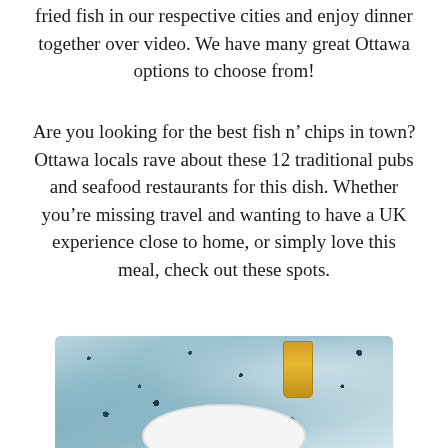fried fish in our respective cities and enjoy dinner together over video. We have many great Ottawa options to choose from!
Are you looking for the best fish n' chips in town? Ottawa locals rave about these 12 traditional pubs and seafood restaurants for this dish. Whether you're missing travel and wanting to have a UK experience close to home, or simply love this meal, check out these spots.
[Figure (photo): Photo of a dish served on a white plate on a blue-grey speckled stone or marble surface, with a glass of amber drink visible in the upper right corner.]